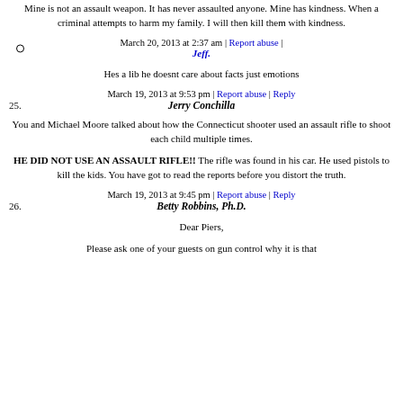Mine is not an assault weapon. It has never assaulted anyone. Mine has kindness. When a criminal attempts to harm my family. I will then kill them with kindness.
March 20, 2013 at 2:37 am | Report abuse | Jeff.
Hes a lib he doesnt care about facts just emotions
March 19, 2013 at 9:53 pm | Report abuse | Reply
25. Jerry Conchilla
You and Michael Moore talked about how the Connecticut shooter used an assault rifle to shoot each child multiple times.
HE DID NOT USE AN ASSAULT RIFLE!! The rifle was found in his car. He used pistols to kill the kids. You have got to read the reports before you distort the truth.
March 19, 2013 at 9:45 pm | Report abuse | Reply
26. Betty Robbins, Ph.D.
Dear Piers,
Please ask one of your guests on gun control why it is that